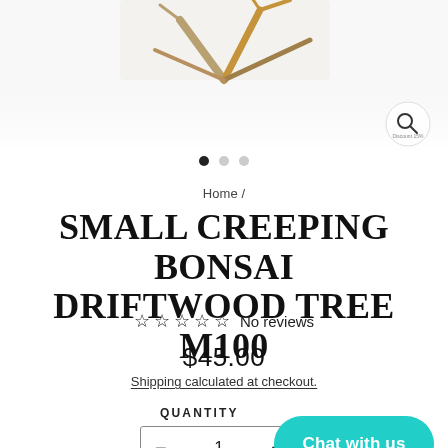[Figure (photo): Product photo of small creeping bonsai driftwood tree, partially visible at top of page with white background]
Home /
SMALL CREEPING BONSAI DRIFTWOOD TREE M100
☆ ☆ ☆ ☆ ☆ No reviews
$45.00
Shipping calculated at checkout.
QUANTITY
− 1 +
Chat with us